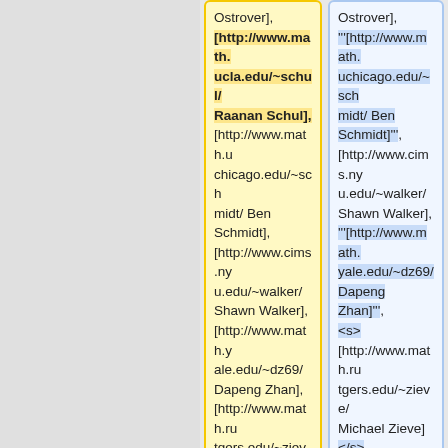Ostrover], [http://www.math.ucla.edu/~schul/ Raanan Schul], [http://www.math.uchicago.edu/~schmidt/ Ben Schmidt], [http://www.cims.nyu.edu/~walker/ Shawn Walker], [http://www.math.yale.edu/~dz69/ Dapeng Zhan], [http://www.math.rutgers.edu/~zieve/ Michael Zieve]
Ostrover], '''[http://www.math.uchicago.edu/~schmidt/ Ben Schmidt]''', [http://www.cims.nyu.edu/~walker/ Shawn Walker], '''[http://www.math.yale.edu/~dz69/ Dapeng Zhan]''', <s> [http://www.math.rutgers.edu/~zieve/ Michael Zieve]</s>
|- valign=top
|- valign=top
| [http://www.mathjobs.org/jobs/MSU/1334 Michigan State
| [http://www.mathjobs.org/jobs/MSU/1334 Michigan State